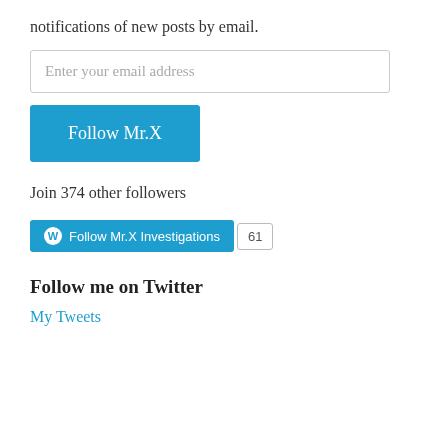notifications of new posts by email.
Enter your email address
Follow Mr.X
Join 374 other followers
[Figure (other): WordPress Follow button with text 'Follow Mr.X Investigations' and a count badge showing 61]
Follow me on Twitter
My Tweets